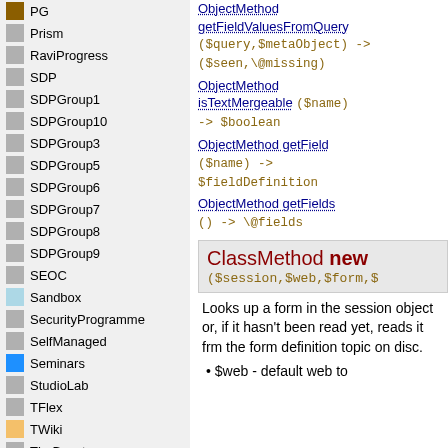PG
Prism
RaviProgress
SDP
SDPGroup1
SDPGroup10
SDPGroup3
SDPGroup5
SDPGroup6
SDPGroup7
SDPGroup8
SDPGroup9
SEOC
Sandbox
SecurityProgramme
SelfManaged
Seminars
StudioLab
TFlex
TWiki
TheBeast
Ug30708
Vademecum
VerbClasses
WebExp
ObjectMethod getFieldValuesFromQuery ($query,$metaObject) -> ($seen,\@missing)
ObjectMethod isTextMergeable ($name) -> $boolean
ObjectMethod getField ($name) -> $fieldDefinition
ObjectMethod getFields () -> \@fields
ClassMethod new ($session,$web,$form,$...
Looks up a form in the session object or, if it hasn't been read yet, reads it frm the form definition topic on disc.
$web - default web to